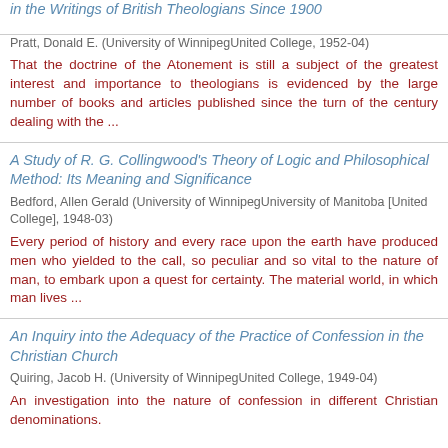in the Writings of British Theologians Since 1900
Pratt, Donald E. (University of WinnipegUnited College, 1952-04)
That the doctrine of the Atonement is still a subject of the greatest interest and importance to theologians is evidenced by the large number of books and articles published since the turn of the century dealing with the ...
A Study of R. G. Collingwood's Theory of Logic and Philosophical Method: Its Meaning and Significance
Bedford, Allen Gerald (University of WinnipegUniversity of Manitoba [United College], 1948-03)
Every period of history and every race upon the earth have produced men who yielded to the call, so peculiar and so vital to the nature of man, to embark upon a quest for certainty. The material world, in which man lives ...
An Inquiry into the Adequacy of the Practice of Confession in the Christian Church
Quiring, Jacob H. (University of WinnipegUnited College, 1949-04)
An investigation into the nature of confession in different Christian denominations.